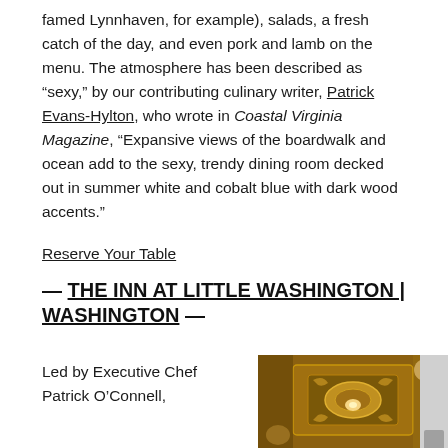famed Lynnhaven, for example), salads, a fresh catch of the day, and even pork and lamb on the menu. The atmosphere has been described as “sexy,” by our contributing culinary writer, Patrick Evans-Hylton, who wrote in Coastal Virginia Magazine, “Expansive views of the boardwalk and ocean add to the sexy, trendy dining room decked out in summer white and cobalt blue with dark wood accents.”
Reserve Your Table
— THE INN AT LITTLE WASHINGTON | WASHINGTON —
Led by Executive Chef Patrick O’Connell,
[Figure (photo): Interior photo of The Inn at Little Washington showing an ornate decorative ceiling with golden warm lighting, elaborate painted panels and moldings in a rich amber and gold color scheme.]